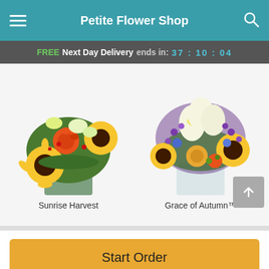Petite Flower Shop
FREE Next Day Delivery ends in: 37 : 10 : 04
[Figure (photo): Sunrise Harvest flower arrangement: sunflowers, orange roses, green orchids, red berries in a green glass cube vase]
Sunrise Harvest
[Figure (photo): Grace of Autumn flower arrangement: white lilies, yellow roses, purple statice, sunflowers, orange carnations in a glass cube vase]
Grace of Autumn™
Start Order